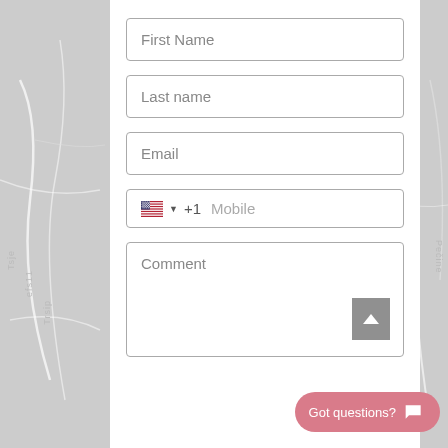[Figure (screenshot): Web form with map background showing input fields for First Name, Last name, Email, Mobile (with US flag and +1 country code), and Comment textarea. A 'Got questions?' button is visible at the bottom right.]
First Name
Last name
Email
🇺🇸 ▼ +1  Mobile
Comment
Got questions?